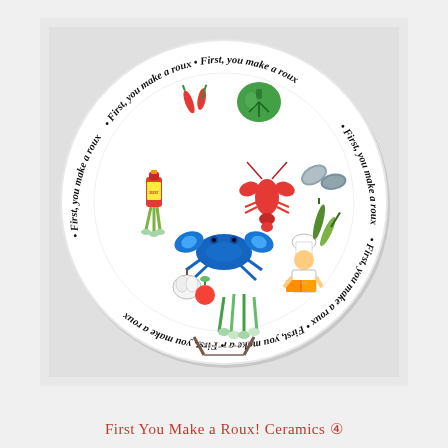[Figure (photo): A white ceramic plate with the phrase 'First, you make a roux' written in cursive around the rim, repeated multiple times. The center of the plate features colorful hand-painted illustrations of Cajun/Creole cooking ingredients: red chili peppers, green bell peppers, hot sauce bottle with celery, crawfish, blue crab, garlic and tomatoes, scallions, oysters, green onions, a chef figure reading a cookbook, and okra. A wooden plate stand is visible at the bottom.]
First You Make a Roux! Ceramics ④